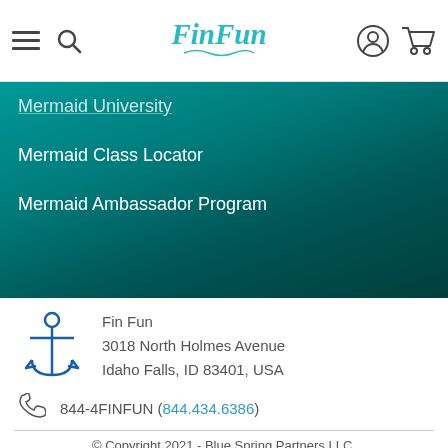Fin Fun [logo] [hamburger menu] [search] [account] [cart]
Mermaid University
Mermaid Class Locator
Mermaid Ambassador Program
Fin Fun
3018 North Holmes Avenue
Idaho Falls, ID 83401, USA
844-4FINFUN (844.434.6386)
© Copyright 2021 - Blue Spring Partners LLC.
Privacy Policy | Terms and Conditions